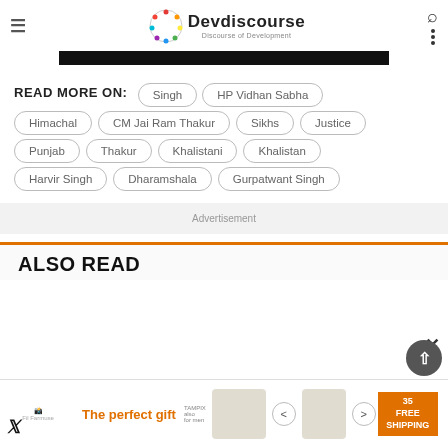Devdiscourse — Discourse of Development
READ MORE ON: Singh, HP Vidhan Sabha, Himachal, CM Jai Ram Thakur, Sikhs, Justice, Punjab, Thakur, Khalistani, Khalistan, Harvir Singh, Dharamshala, Gurpatwant Singh
Advertisement
ALSO READ